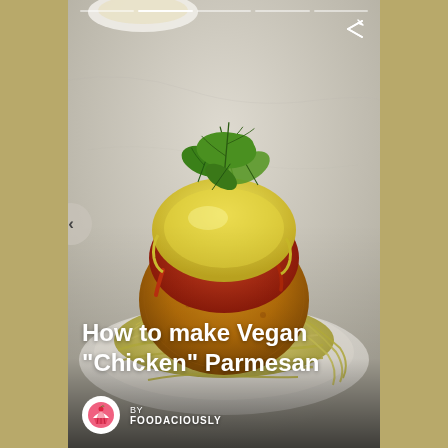[Figure (photo): A plate of vegan chicken parmesan — a breaded round patty topped with marinara sauce, melted vegan cheese, and fresh basil leaves, served on a bed of spaghetti on a white plate. Background is a marble surface with a bowl of pasta partially visible.]
How to make Vegan "Chicken" Parmesan
BY FOODACIOUSLY